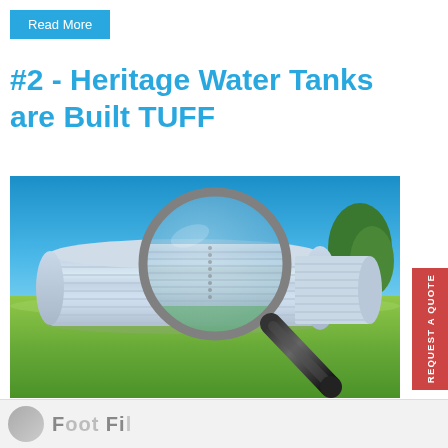Read More
#2 - Heritage Water Tanks are Built TUFF
[Figure (photo): A large corrugated steel water tank on green grass under a blue sky, with a magnifying glass overlay examining the tank structure]
REQUEST A QUOTE
Footer / Logo strip partially visible